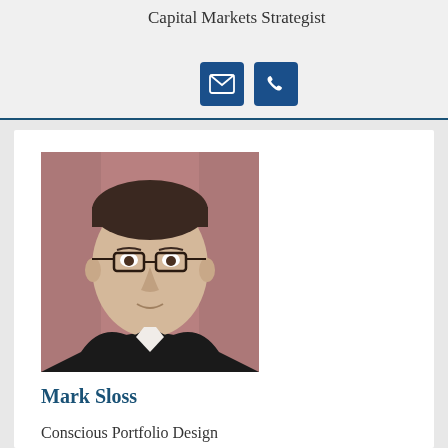Capital Markets Strategist
[Figure (other): Email icon button (dark blue square with envelope icon) and phone icon button (dark blue square with telephone handset icon)]
[Figure (photo): Headshot photo of Mark Sloss, a man with glasses, dark hair, wearing a dark suit, against a pink/mauve background]
Mark Sloss
Conscious Portfolio Design and Research